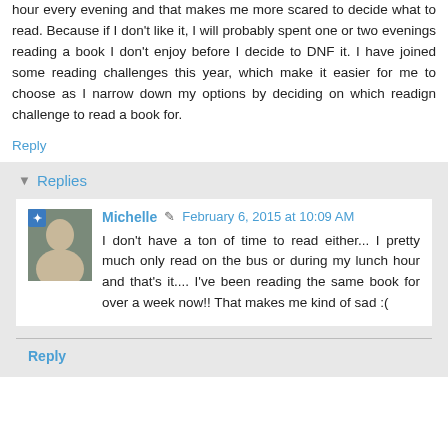hour every evening and that makes me more scared to decide what to read. Because if I don't like it, I will probably spent one or two evenings reading a book I don't enjoy before I decide to DNF it. I have joined some reading challenges this year, which make it easier for me to choose as I narrow down my options by deciding on which readign challenge to read a book for.
Reply
Replies
Michelle  February 6, 2015 at 10:09 AM
I don't have a ton of time to read either... I pretty much only read on the bus or during my lunch hour and that's it.... I've been reading the same book for over a week now!! That makes me kind of sad :(
Reply